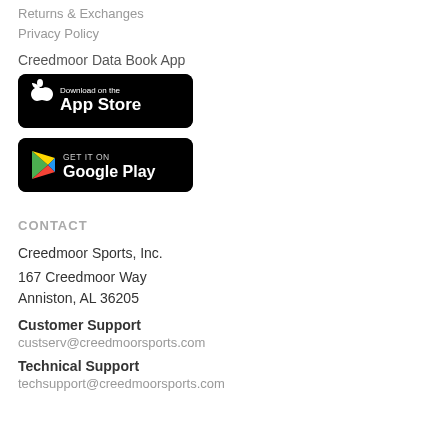Returns & Exchanges
Privacy Policy
Creedmoor Data Book App
[Figure (logo): Download on the App Store badge — black rounded rectangle with Apple logo and text 'Download on the App Store']
[Figure (logo): Get it on Google Play badge — black rounded rectangle with Google Play triangle logo and text 'GET IT ON Google Play']
CONTACT
Creedmoor Sports, Inc.
167 Creedmoor Way
Anniston, AL 36205
Customer Support
custserv@creedmoorsports.com
Technical Support
techsupport@creedmoorsports.com